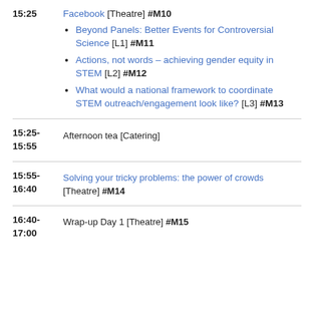15:25  Facebook [Theatre] #M10
Beyond Panels: Better Events for Controversial Science [L1] #M11
Actions, not words – achieving gender equity in STEM [L2] #M12
What would a national framework to coordinate STEM outreach/engagement look like? [L3] #M13
15:25-15:55  Afternoon tea [Catering]
15:55-16:40  Solving your tricky problems: the power of crowds [Theatre] #M14
16:40-17:00  Wrap-up Day 1 [Theatre] #M15